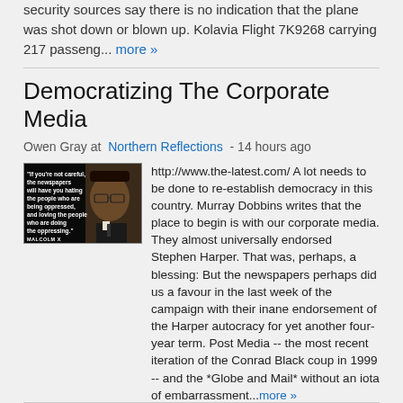security sources say there is no indication that the plane was shot down or blown up. Kolavia Flight 7K9268 carrying 217 passeng... more »
Democratizing The Corporate Media
Owen Gray at Northern Reflections - 14 hours ago
[Figure (photo): Black and white image of Malcolm X with a quote: 'If you're not careful, the newspapers will have you hating the people who are being oppressed, and loving the people who are doing the oppressing.' MALCOLM X]
http://www.the-latest.com/ A lot needs to be done to re-establish democracy in this country. Murray Dobbins writes that the place to begin is with our corporate media. They almost universally endorsed Stephen Harper. That was, perhaps, a blessing: But the newspapers perhaps did us a favour in the last week of the campaign with their inane endorsement of the Harper autocracy for yet another four-year term. Post Media -- the most recent iteration of the Conrad Black coup in 1999 -- and the *Globe and Mail* without an iota of embarrassment...more »